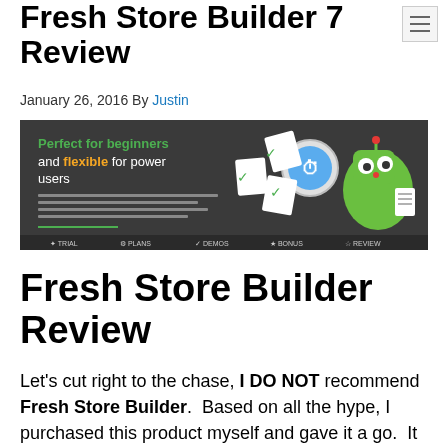Fresh Store Builder 7 Review
January 26, 2016 By Justin
[Figure (screenshot): Fresh Store Builder promotional banner with dark background. Text reads: 'Perfect for beginners and flexible for power users'. Features a green robot character and checklist icons with checkmarks.]
Fresh Store Builder Review
Let's cut right to the chase, I DO NOT recommend Fresh Store Builder. Based on all the hype, I purchased this product myself and gave it a go. It wasn't long before I discovered that the only people